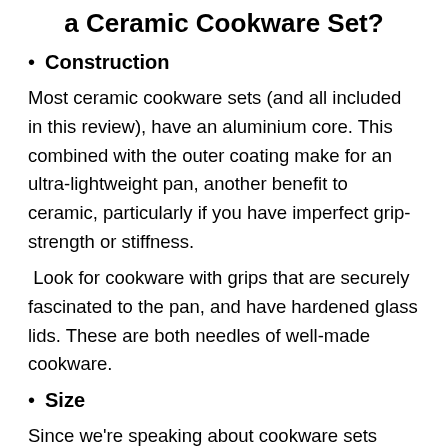a Ceramic Cookware Set?
Construction
Most ceramic cookware sets (and all included in this review), have an aluminium core. This combined with the outer coating make for an ultra-lightweight pan, another benefit to ceramic, particularly if you have imperfect grip-strength or stiffness.
Look for cookware with grips that are securely fascinated to the pan, and have hardened glass lids. These are both needles of well-made cookware.
Size
Since we're speaking about cookware sets here, consider the number of pieces (and which pieces in particular), you're looking to add to your collection. Most pieces will include at